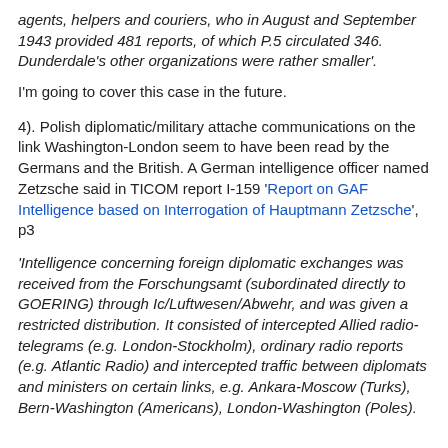agents, helpers and couriers, who in August and September 1943 provided 481 reports, of which P.5 circulated 346. Dunderdale's other organizations were rather smaller'.
I'm going to cover this case in the future.
4). Polish diplomatic/military attache communications on the link Washington-London seem to have been read by the Germans and the British. A German intelligence officer named Zetzsche said in TICOM report I-159 'Report on GAF Intelligence based on Interrogation of Hauptmann Zetzsche', p3
'Intelligence concerning foreign diplomatic exchanges was received from the Forschungsamt (subordinated directly to GOERING) through Ic/Luftwesen/Abwehr, and was given a restricted distribution. It consisted of intercepted Allied radio-telegrams (e.g. London-Stockholm), ordinary radio reports (e.g. Atlantic Radio) and intercepted traffic between diplomats and ministers on certain links, e.g. Ankara-Moscow (Turks), Bern-Washington (Americans), London-Washington (Poles).